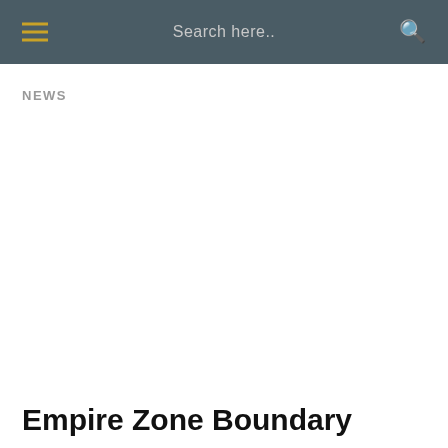Search here..
NEWS
Empire Zone Boundary